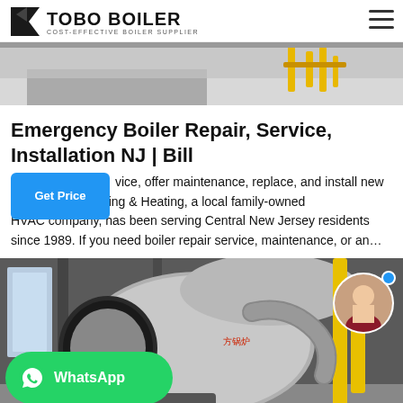TOBO BOILER — COST-EFFECTIVE BOILER SUPPLIER
[Figure (photo): Industrial boiler facility interior showing pipes and equipment, partial view at top of page]
Emergency Boiler Repair, Service, Installation NJ | Bill
vice, offer maintenance, replace, and install new ary Air Conditioning & Heating, a local family-owned HVAC company, has been serving Central New Jersey residents since 1989. If you need boiler repair service, maintenance, or an…
[Figure (photo): Industrial boiler equipment in a factory/warehouse setting with large cylindrical boiler, red burner component, yellow gas pipes, and flexible ducting. A WhatsApp button overlay and an avatar of a woman are also visible.]